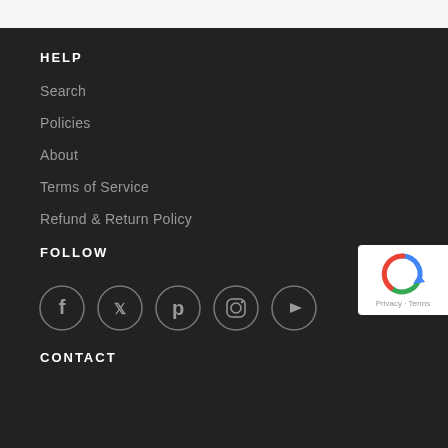HELP
Search
Policies
About
Terms of Service
Refund & Return Policy
FOLLOW
[Figure (illustration): Row of five social media icon circles: Facebook, Twitter, Pinterest, Instagram, YouTube]
CONTACT
[Figure (logo): Google reCAPTCHA badge with Privacy · Terms text]